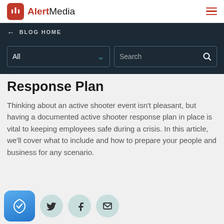AlertMedia
← BLOG HOME
Response Plan
Thinking about an active shooter event isn't pleasant, but having a documented active shooter response plan in place is vital to keeping employees safe during a crisis. In this article, we'll cover what to include and how to prepare your people and business for any scenario.